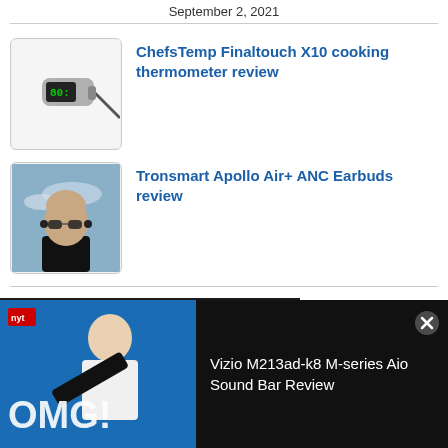September 2, 2021
[Figure (photo): ChefsTemp Finaltouch X10 cooking thermometer product photo on white background]
ChefsTemp Finaltouch X10 cooking thermometer review
[Figure (photo): Person wearing sunglasses with earbuds outdoors, Tronsmart Apollo Air+ ANC Earbuds]
Tronsmart Apollo Air+ ANC Earbuds review
[Figure (screenshot): Video overlay showing a man holding a soundbar with OMG! text, promoting Vizio M213ad-k8 M-series Aio Sound Bar Review]
Vizio M213ad-k8 M-series Aio Sound Bar Review